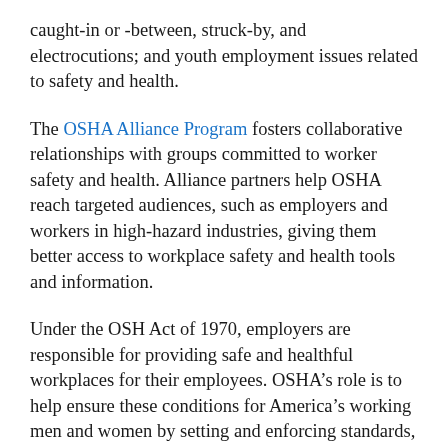caught-in or -between, struck-by, and electrocutions; and youth employment issues related to safety and health.
The OSHA Alliance Program fosters collaborative relationships with groups committed to worker safety and health. Alliance partners help OSHA reach targeted audiences, such as employers and workers in high-hazard industries, giving them better access to workplace safety and health tools and information.
Under the OSH Act of 1970, employers are responsible for providing safe and healthful workplaces for their employees. OSHA’s role is to help ensure these conditions for America’s working men and women by setting and enforcing standards, and providing training, education and assistance. For more information, visit https://www.osha.gov.